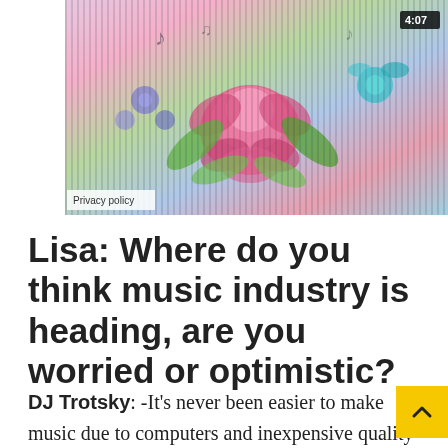[Figure (screenshot): Video thumbnail showing colorful floral illustration with music notes and striped overlay effect. Timer shows 4:07 in bottom right. Privacy policy label in bottom left.]
Lisa: Where do you think music industry is heading, are you worried or optimistic?
DJ Trotsky: -It's never been easier to make music due to computers and inexpensive quality instruments and it's never been easier to listen to lots of music inexpensively. On one level the economics of the industry are always changing and these are tough times